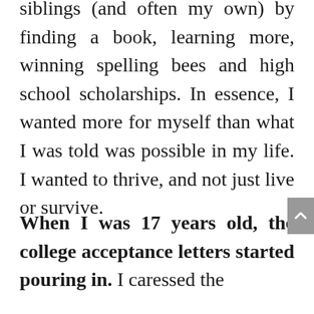siblings (and often my own) by finding a book, learning more, winning spelling bees and high school scholarships. In essence, I wanted more for myself than what I was told was possible in my life. I wanted to thrive, and not just live or survive.
When I was 17 years old, the college acceptance letters started pouring in. I caressed the